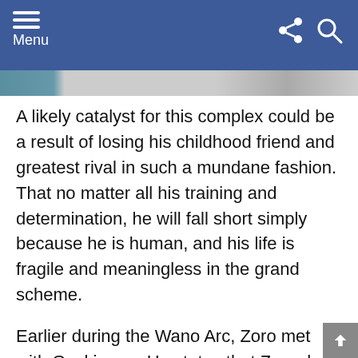Menu
[Figure (photo): Partial image strip at top, appears to be a screenshot of an article with a partially visible image]
A likely catalyst for this complex could be a result of losing his childhood friend and greatest rival in such a mundane fashion. That no matter all his training and determination, he will fall short simply because he is human, and his life is fragile and meaningless in the grand scheme.
Earlier during the Wano Arc, Zoro met with Gyukimaru. He states that Zoro does not understand the true value of Shusui. And at the time, he did not. Zoro hadn't fully understood his swords were his companions, and not just tools. He failed to recognize what Shusui may have wanted in all this, and only